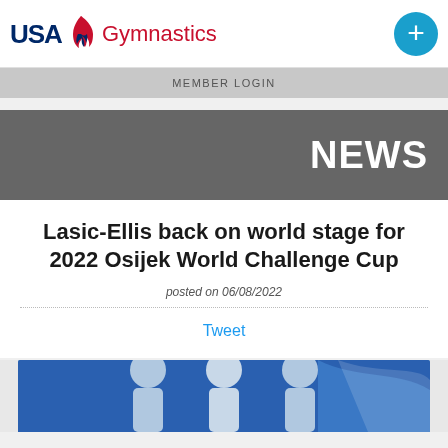USA Gymnastics
MEMBER LOGIN
NEWS
Lasic-Ellis back on world stage for 2022 Osijek World Challenge Cup
posted on 06/08/2022
Tweet
[Figure (photo): Photo of athletes at the 2022 Osijek World Challenge Cup, blue background with white graphic elements]